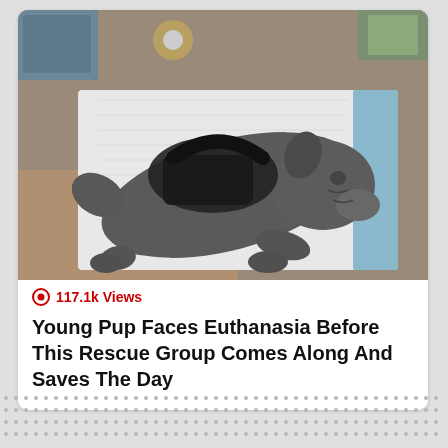[Figure (photo): A small gray puppy wearing a black harness/vest, lying on a white padded surface. The puppy is curled slightly with its head resting down.]
117.1k Views
Young Pup Faces Euthanasia Before This Rescue Group Comes Along And Saves The Day